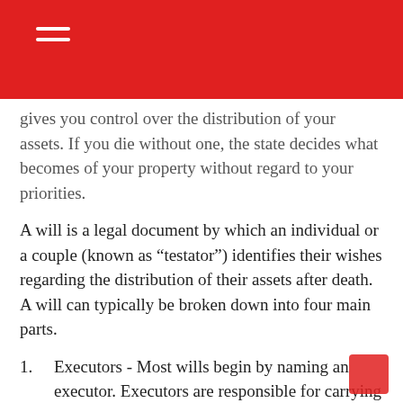gives you control over the distribution of your assets. If you die without one, the state decides what becomes of your property without regard to your priorities.
A will is a legal document by which an individual or a couple (known as “testator”) identifies their wishes regarding the distribution of their assets after death. A will can typically be broken down into four main parts.
1. Executors - Most wills begin by naming an executor. Executors are responsible for carrying out the wishes outlined in a will. This involves assessing the value of the estate, gathering the assets, paying inheritance tax and other debts (if necessary), and distributing assets among beneficiaries. It’s recommended that you name at least two executors, in case your first choice is